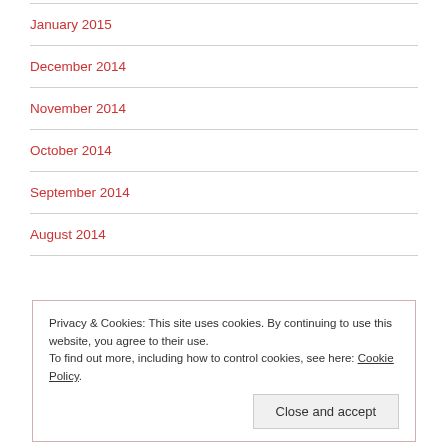January 2015
December 2014
November 2014
October 2014
September 2014
August 2014
Privacy & Cookies: This site uses cookies. By continuing to use this website, you agree to their use. To find out more, including how to control cookies, see here: Cookie Policy